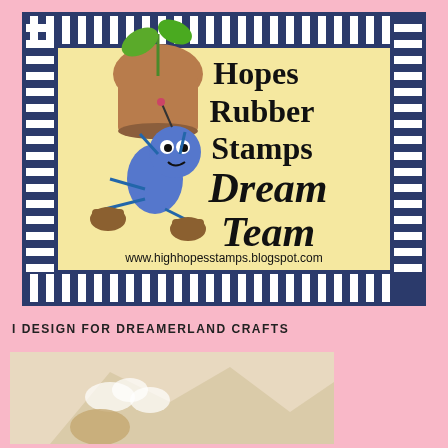[Figure (illustration): High Hopes Rubber Stamps Dream Team banner featuring a cartoon blue ant carrying a flowerpot with a plant, wearing boots, surrounded by navy and white striped border on a yellow background. Text reads: Hopes Rubber Stamps Dream Team www.highhopesstamps.blogspot.com]
I DESIGN FOR DREAMERLAND CRAFTS
[Figure (illustration): Partial view of a Dreamerland Crafts illustration showing a whimsical character, beige/tan tones visible at bottom of page]